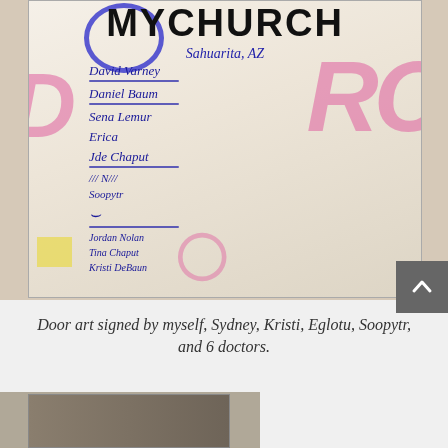[Figure (photo): A whiteboard or door with 'MYCHURCH Sahuarita, AZ' printed at the top in bold black letters with a blue circle logo, surrounded by pink marker artwork. Multiple signatures in blue ink are written below the text, including David Varney, Daniel Baum, Sena Lemur, Erica Chaput, JN (scribble), Soopytr, Jordan Nolan, Tina Chaput, Kristi DeBaun.]
Door art signed by myself, Sydney, Kristi, Eglotu, Soopytr, and 6 doctors.